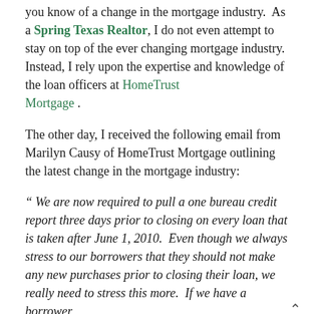you know of a change in the mortgage industry. As a Spring Texas Realtor, I do not even attempt to stay on top of the ever changing mortgage industry. Instead, I rely upon the expertise and knowledge of the loan officers at HomeTrust Mortgage .
The other day, I received the following email from Marilyn Causy of HomeTrust Mortgage outlining the latest change in the mortgage industry:
" We are now required to pull a one bureau credit report three days prior to closing on every loan that is taken after June 1, 2010. Even though we always stress to our borrowers that they should not make any new purchases prior to closing their loan, we really need to stress this more. If we have a borrower